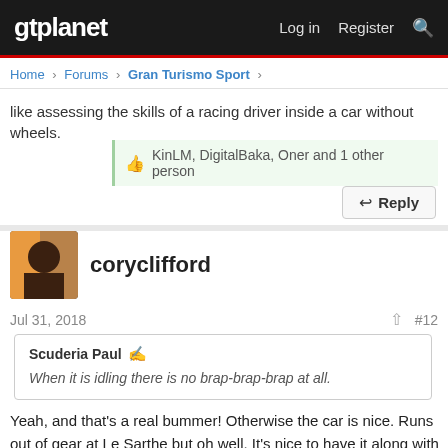gtplanet — Log in  Register
Home › Forums › Gran Turismo Sport ›
like assessing the skills of a racing driver inside a car without wheels.
KinLM, DigitalBaka, Oner and 1 other person
Reply
coryclifford
Jul 31, 2018  #12
Scuderia Paul
When it is idling there is no brap-brap-brap at all.
Yeah, and that's a real bummer! Otherwise the car is nice. Runs out of gear at Le Sarthe but oh well. It's nice to have it along with the other Group C cars. I found it odd they didn't include it with the others at the last update.